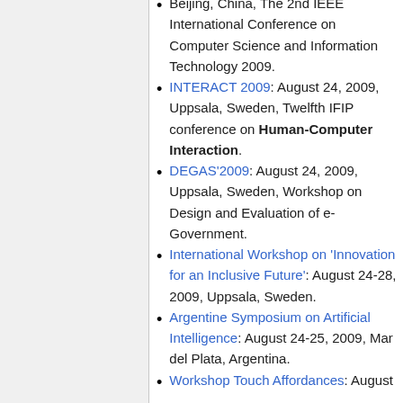Beijing, China, The 2nd IEEE International Conference on Computer Science and Information Technology 2009.
INTERACT 2009: August 24, 2009, Uppsala, Sweden, Twelfth IFIP conference on Human-Computer Interaction.
DEGAS'2009: August 24, 2009, Uppsala, Sweden, Workshop on Design and Evaluation of e-Government.
International Workshop on 'Innovation for an Inclusive Future': August 24-28, 2009, Uppsala, Sweden.
Argentine Symposium on Artificial Intelligence: August 24-25, 2009, Mar del Plata, Argentina.
Workshop Touch Affordances: August